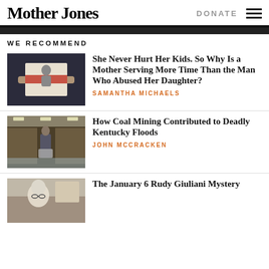Mother Jones | DONATE
WE RECOMMEND
[Figure (photo): Hands holding a photograph of a woman and child with a red stripe across it]
She Never Hurt Her Kids. So Why Is a Mother Serving More Time Than the Man Who Abused Her Daughter?
SAMANTHA MICHAELS
[Figure (photo): Flooded grocery store aisle with a person pushing a cart through standing water]
How Coal Mining Contributed to Deadly Kentucky Floods
JOHN MCCRACKEN
[Figure (photo): Person with glasses in a room, blurry/low light image]
The January 6 Rudy Giuliani Mystery